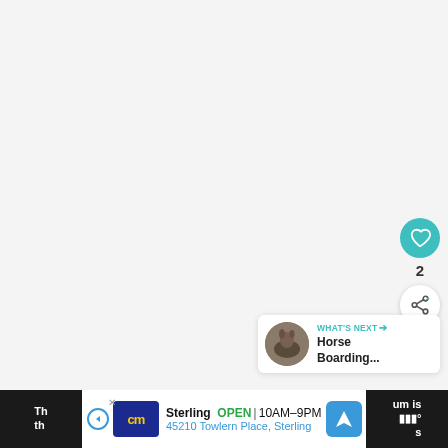[Figure (screenshot): Light gray blank main content area of a web page]
[Figure (infographic): Teal circular heart/like button with white heart icon, showing count of 2, and a white circular share button below]
[Figure (infographic): What's Next card with thumbnail of horse image, label WHAT'S NEXT with arrow, and title text Horse Boarding...]
[Figure (screenshot): Advertisement bar at bottom: CM logo, Sterling store, OPEN 10AM-9PM, 45210 Towlern Place Sterling, navigation icon, partial dark text panels on left and right sides]